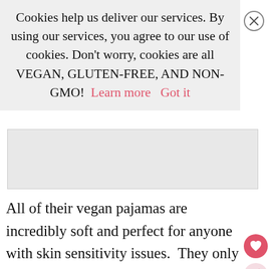Cookies help us deliver our services. By using our services, you agree to our use of cookies. Don't worry, cookies are all VEGAN, GLUTEN-FREE, AND NON-GMO!  Learn more   Got it
[Figure (other): Gray rectangle placeholder for an advertisement banner]
All of their vegan pajamas are incredibly soft and perfect for anyone with skin sensitivity issues. They only use premium, natural fibers harvested from family-run farms to produce sustainable and durable loungewear.
One of the best parts about this company is the